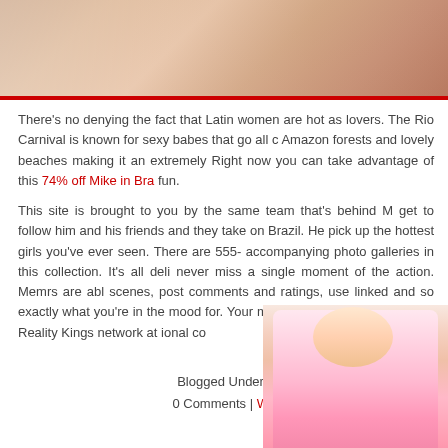[Figure (photo): Cropped top image showing partial view of people, skin tones visible, with red border at bottom]
There's no denying the fact that Latin women are hot as lovers. The Rio Carnival is known for sexy babes that go all c Amazon forests and lovely beaches making it an extremely Right now you can take advantage of this 74% off Mike in Bra fun.
This site is brought to you by the same team that's behind M get to follow him and his friends and they take on Brazil. He pick up the hottest girls you've ever seen. There are 555- accompanying photo galleries in this collection. It's all deli never miss a single moment of the action. Members are abl scenes, post comments and ratings, use linked and so exactly what you're in the mood for. Your m ership is access to the entire Reality Kings network at ional co
Blogged Under 
0 Comments | Writ
[Figure (photo): Popup overlay showing a blonde woman in pink lingerie with istripper.com advertisement banner reading SEE ME NAKED ON www.istripper.com with close button]